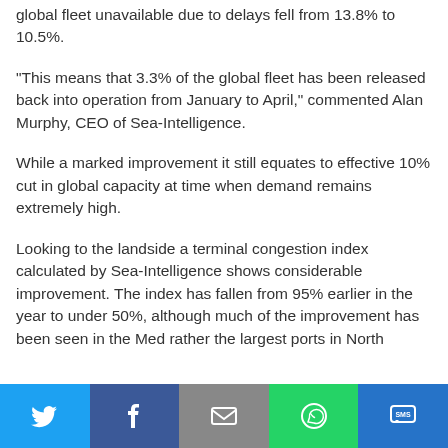global fleet unavailable due to delays fell from 13.8% to 10.5%.
“This means that 3.3% of the global fleet has been released back into operation from January to April,” commented Alan Murphy, CEO of Sea-Intelligence.
While a marked improvement it still equates to effective 10% cut in global capacity at time when demand remains extremely high.
Looking to the landside a terminal congestion index calculated by Sea-Intelligence shows considerable improvement. The index has fallen from 95% earlier in the year to under 50%, although much of the improvement has been seen in the Med rather the largest ports in North
[Figure (other): Social sharing bar with Twitter, Facebook, Email, WhatsApp, and SMS buttons]